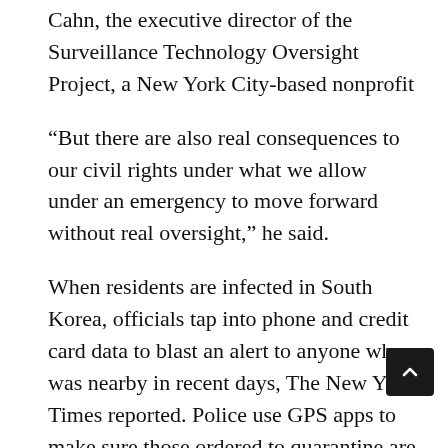Cahn, the executive director of the Surveillance Technology Oversight Project, a New York City-based nonprofit
“But there are also real consequences to our civil rights under what we allow under an emergency to move forward without real oversight,” he said.
When residents are infected in South Korea, officials tap into phone and credit card data to blast an alert to anyone who was nearby in recent days, The New York Times reported. Police use GPS apps to make sure those ordered to quarantine are actually following suit.
Officials in Lombardy, Italy, used mobile phone data to track how many people were obeying the stay-at-home orders, health leaders said, according to...